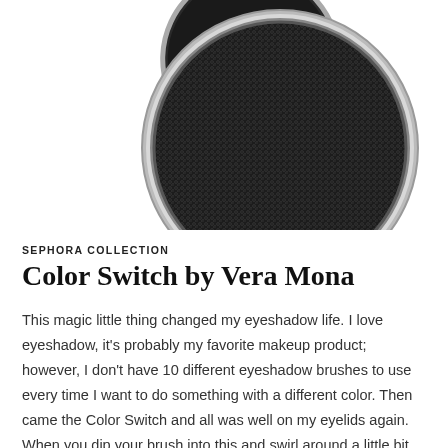[Figure (photo): Product photo of Sephora Collection Color Switch by Vera Mona — a round tin with silver rim filled with dense black sponge mesh, shown open with lid partially visible behind it, on white background]
SEPHORA COLLECTION
Color Switch by Vera Mona
This magic little thing changed my eyeshadow life. I love eyeshadow, it's probably my favorite makeup product; however, I don't have 10 different eyeshadow brushes to use every time I want to do something with a different color. Then came the Color Switch and all was well on my eyelids again. When you dip your brush into this and swirl around a little bit,